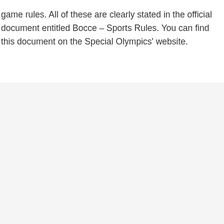game rules. All of these are clearly stated in the official document entitled Bocce – Sports Rules. You can find this document on the Special Olympics' website.